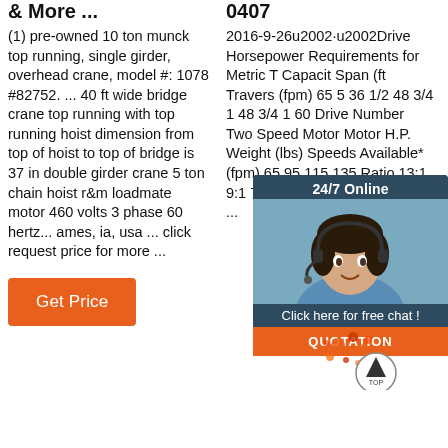& More ...
(1) pre-owned 10 ton munck top running, single girder, overhead crane, model #: 1078 #82752. ... 40 ft wide bridge crane top running with top running hoist dimension from top of hoist to top of bridge is 37 in double girder crane 5 ton chain hoist r&m loadmate motor 460 volts 3 phase 60 hertz... ames, ia, usa ... click request price for more ...
[Figure (other): Orange 'Get Price' button]
0407
2016-9-26u2002·u2002Drive Horsepower Requirements for Metric Ton Capacity Span (ft) Traverse (fpm) 65 5 36 1/2 48 3/4 1 48 3/4 1 60 Drive Number Two Speed Motor Motor H.P. Weight (lbs) Speeds Available* (fpm) 65 95 115 135 Ratio 13:1 9:1 7:1 6:1 913460 Single 164 X ...
[Figure (other): 24/7 Online chat widget with agent photo and 'Click here for free chat!' text and orange QUOTATION button]
[Figure (other): Red/orange splatter graphic and circular TOP navigation button with up arrow]